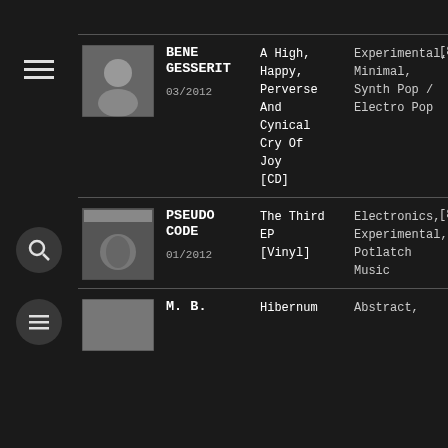[Figure (screenshot): Music catalog/database UI with dark background showing list of albums]
BENE GESSERIT — A High, Happy, Perverse And Cynical Cry Of Joy [CD] — 03/2012 — Experimental, Minimal, Synth Pop / Electro Pop — [89...]
PSEUDO CODE — The Third EP [Vinyl] — 01/2012 — Electronics, Experimental, Potlatch Music — [84...]
M. B. — Hibernum — Abstract, ...